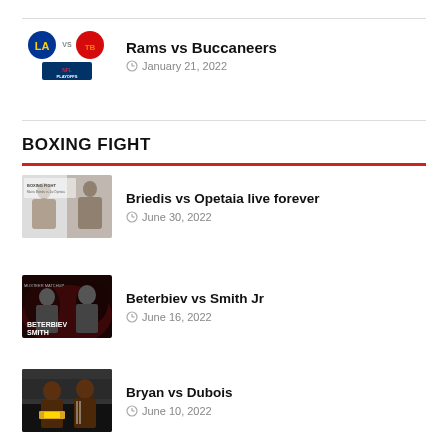[Figure (illustration): Rams vs Buccaneers NFL Playoffs logos]
Rams vs Buccaneers
January 21, 2022
BOXING FIGHT
[Figure (photo): Briedis vs Opetaia boxing promotional image]
Briedis vs Opetaia live forever
June 30, 2022
[Figure (photo): Beterbiev vs Smith promotional image with dark red lighting]
Beterbiev vs Smith Jr
June 16, 2022
[Figure (photo): Bryan vs Dubois boxing photo with belt]
Bryan vs Dubois
June 10, 2022